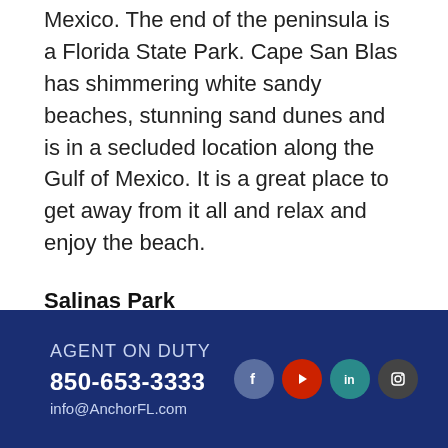Mexico. The end of the peninsula is a Florida State Park. Cape San Blas has shimmering white sandy beaches, stunning sand dunes and is in a secluded location along the Gulf of Mexico. It is a great place to get away from it all and relax and enjoy the beach.
Salinas Park
The park has two dune walk-overs for access to the beach, a gazebo, several picnic tables, running water, restrooms, and playground. It is located on SR30E just off SR30A on the way to Cape San Blas.
AGENT ON DUTY
850-653-3333
info@AnchorFL.com